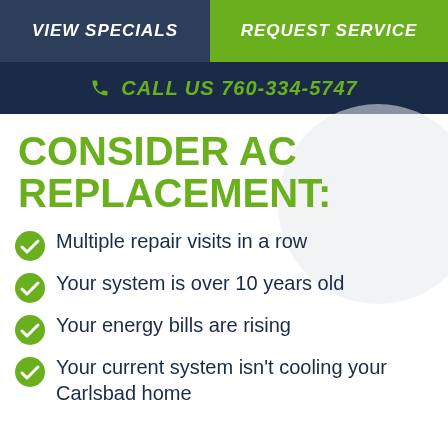VIEW SPECIALS | REQUEST SERVICE
CALL US 760-334-5747
CONSIDER AC REPLACEMENT:
Multiple repair visits in a row
Your system is over 10 years old
Your energy bills are rising
Your current system isn't cooling your Carlsbad home